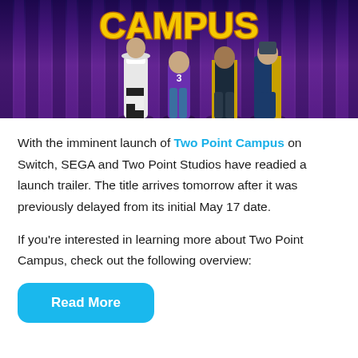[Figure (illustration): Two Point Campus game promotional image with characters standing in front of a purple curtained background. The word CAMPUS appears in large yellow bold lettering at the top. Multiple game characters are visible including a chef, a student in purple, and others in costumes.]
With the imminent launch of Two Point Campus on Switch, SEGA and Two Point Studios have readied a launch trailer. The title arrives tomorrow after it was previously delayed from its initial May 17 date.
If you're interested in learning more about Two Point Campus, check out the following overview:
Read More